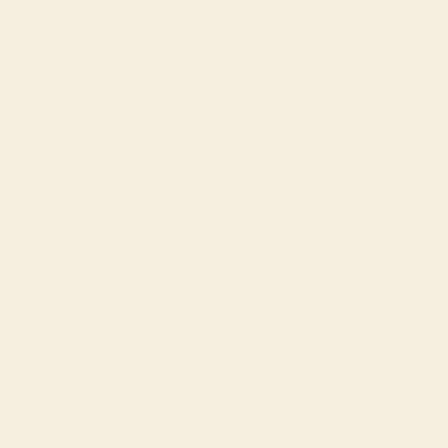organ-preserving operation... is available for accurate di...
A focus of the Internal Me... Oncology, as well as the tr... asthma and rheumatism.
The Children's Hospital ... friendly departments in Ge... infants). Main paediatric fo... epilepsy, depression and e...
The 27-bed ward of the De... Medicine treats patients w... compulsive disorders, fati... crises and with cancer. He... therapies are particularly v...
Contact:
The Filderklinik
Anthroposophic Medicine: Acute-
Im Haberschlai 7
D-70794 Filderstadt-Bonlanden
Germany
Telephone +49 (0)711 7703-0
Fax +49 (0)711 7703-1620
www.filderklinik.de